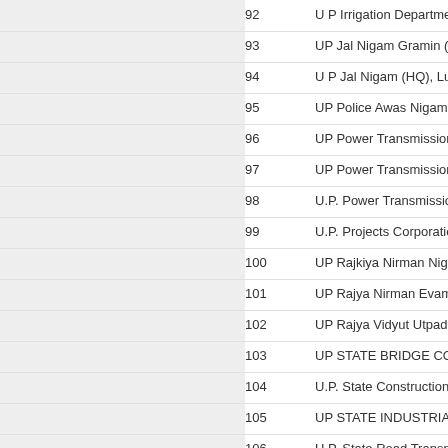92  U P Irrigation Department (Mecha...
93  UP Jal Nigam Gramin (HQ) Luck...
94  U P Jal Nigam (HQ), Lucknow
95  UP Police Awas Nigam Limited
96  UP Power Transmission Corp.Ltd...
97  UP Power Transmission Corp.Ltd...
98  U.P. Power Transmission Corpora...
99  U.P. Projects Corporation Ltd.
100  UP Rajkiya Nirman Nigam Ltd
101  UP Rajya Nirman Evam Sharam V...
102  UP Rajya Vidyut Utpadan Nigam...
103  UP STATE BRIDGE CORPORAT...
104  U.P. State Construction and Infras...
105  UP STATE INDUSTRIAL DEVE...
106  U.P. State Road Transport Corpora...
107  U.P. State Sugar Corporation Ltd.
108  UP State Tourism Development C...
109  UP STATE WAREHOUSING CO...
110  UPTRON Powertronics Limited
111  Uttar Pradesh Education For All P...
112  Uttar Pradesh Excise Department
113  Uttar Pradesh Jal Vidyut Nigam L...
114  Uttar Pradesh Medical Supplies C...